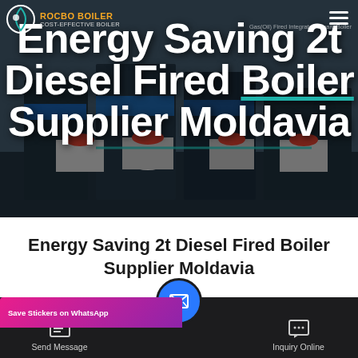[Figure (photo): Hero banner showing industrial steam boiler equipment in an outdoor facility, overlaid with large white bold text reading 'Energy Saving 2t Diesel Fired Boiler Supplier Moldavia'. A logo for ROCBO BOILER appears top-left with tagline 'COST-EFFECTIVE BOILER'. A hamburger menu icon appears top-right.]
Energy Saving 2t Diesel Fired Boiler Supplier Moldavia
[Figure (screenshot): Bottom navigation bar with three items: 'Send Message' (left), email/envelope icon in blue circle (center), 'Inquiry Online' (right). A pink/purple 'Save Stickers on WhatsApp' notification banner overlays the left portion.]